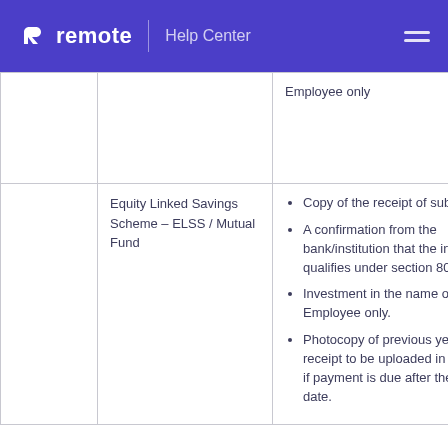remote  |  Help Center
|  | Scheme | Requirements |
| --- | --- | --- |
|  |  | Employee only |
|  | Equity Linked Savings Scheme – ELSS / Mutual Fund | Copy of the receipt of subscription. A confirmation from the bank/institution that the investment qualifies under section 80C. Investment in the name of Employee only. Photocopy of previous year's receipt to be uploaded in the portal if payment is due after the cut-off date. |